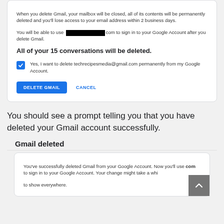When you delete Gmail, your mailbox will be closed, all of its contents will be permanently deleted and you'll lose access to your email address within 2 business days.
You will be able to use [redacted].com to sign in to your Google Account after you delete Gmail.
All of your 15 conversations will be deleted.
Yes, I want to delete techrecipesmedia@gmail.com permanently from my Google Account.
DELETE GMAIL   CANCEL
You should see a prompt telling you that you have deleted your Gmail account successfully.
Gmail deleted
You've successfully deleted Gmail from your Google Account. Now you'll use [redacted].com to sign in to your Google Account. Your change might take a while to show everywhere.